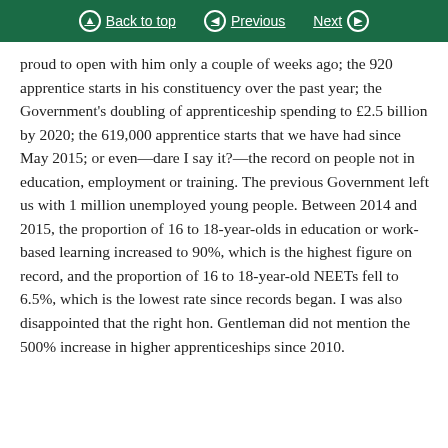Back to top   Previous   Next
proud to open with him only a couple of weeks ago; the 920 apprentice starts in his constituency over the past year; the Government's doubling of apprenticeship spending to £2.5 billion by 2020; the 619,000 apprentice starts that we have had since May 2015; or even—dare I say it?—the record on people not in education, employment or training. The previous Government left us with 1 million unemployed young people. Between 2014 and 2015, the proportion of 16 to 18-year-olds in education or work-based learning increased to 90%, which is the highest figure on record, and the proportion of 16 to 18-year-old NEETs fell to 6.5%, which is the lowest rate since records began. I was also disappointed that the right hon. Gentleman did not mention the 500% increase in higher apprenticeships since 2010.